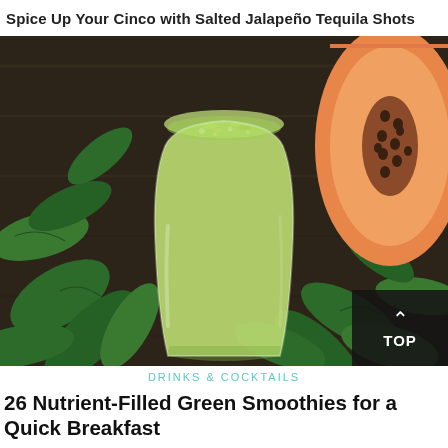Spice Up Your Cinco with Salted Jalapeño Tequila Shots
[Figure (photo): A glass of green smoothie surrounded by fresh spinach leaves and a halved papaya on a dark wooden surface.]
DRINKS & COCKTAILS
26 Nutrient-Filled Green Smoothies for a Quick Breakfast